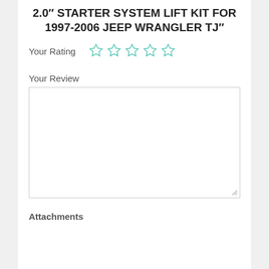2.0" STARTER SYSTEM LIFT KIT FOR 1997-2006 JEEP WRANGLER TJ"
Your Rating
Your Review
Attachments